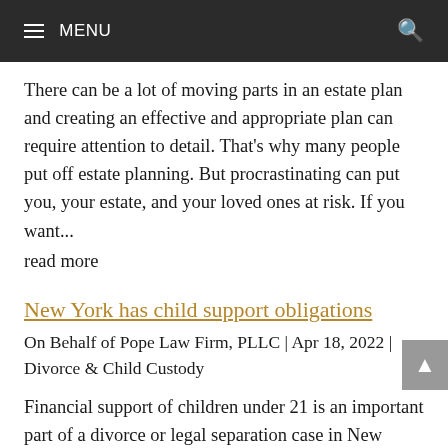≡ MENU
There can be a lot of moving parts in an estate plan and creating an effective and appropriate plan can require attention to detail. That's why many people put off estate planning. But procrastinating can put you, your estate, and your loved ones at risk. If you want...
read more
New York has child support obligations
On Behalf of Pope Law Firm, PLLC | Apr 18, 2022 | Divorce & Child Custody
Financial support of children under 21 is an important part of a divorce or legal separation case in New York. Courts assure that there is sufficient financial support to pay for their necessary living expenses. Orders New York's courts play an